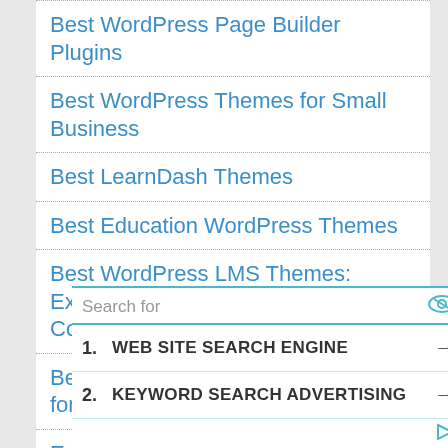Best WordPress Page Builder Plugins
Best WordPress Themes for Small Business
Best LearnDash Themes
Best Education WordPress Themes
Best WordPress LMS Themes: Excellent Ways to Manage Learning Content
Best WordPress Website Examples for Design Inspiration
Essential Addons for Elementor : Is It The Best Elementor Addons Plugin?
[Figure (screenshot): Search advertisement overlay with 'Search for' bar, eye icon, two search result rows: 1. WEB SITE SEARCH ENGINE (arrow), 2. KEYWORD SEARCH ADVERTISING (arrow), and a footer with a play icon.]